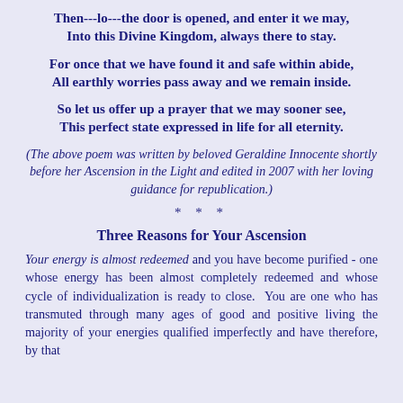Then---lo---the door is opened, and enter it we may,
Into this Divine Kingdom, always there to stay.
For once that we have found it and safe within abide,
All earthly worries pass away and we remain inside.
So let us offer up a prayer that we may sooner see,
This perfect state expressed in life for all eternity.
(The above poem was written by beloved Geraldine Innocente shortly before her Ascension in the Light and edited in 2007 with her loving guidance for republication.)
* * *
Three Reasons for Your Ascension
Your energy is almost redeemed and you have become purified - one whose energy has been almost completely redeemed and whose cycle of individualization is ready to close. You are one who has transmuted through many ages of good and positive living the majority of your energies qualified imperfectly and have therefore, by that